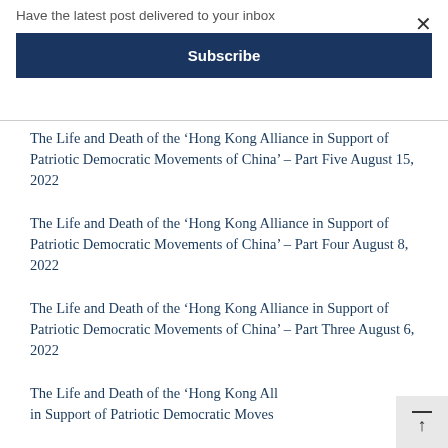Have the latest post delivered to your inbox
Subscribe
The Life and Death of the ‘Hong Kong Alliance in Support of Patriotic Democratic Movements of China’ – Part Five August 15, 2022
The Life and Death of the ‘Hong Kong Alliance in Support of Patriotic Democratic Movements of China’ – Part Four August 8, 2022
The Life and Death of the ‘Hong Kong Alliance in Support of Patriotic Democratic Movements of China’ – Part Three August 6, 2022
The Life and Death of the ‘Hong Kong Alliance in Support of Patriotic Democratic Movements of China’ –